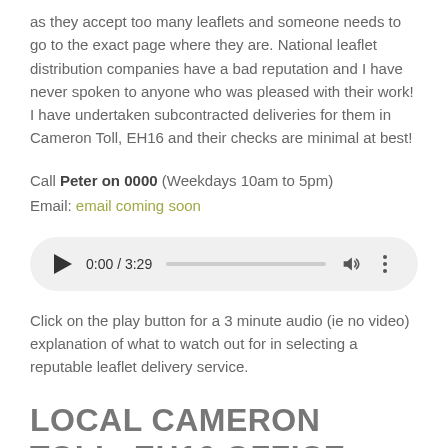as they accept too many leaflets and someone needs to go to the exact page where they are. National leaflet distribution companies have a bad reputation and I have never spoken to anyone who was pleased with their work! I have undertaken subcontracted deliveries for them in Cameron Toll, EH16 and their checks are minimal at best!
Call Peter on 0000 (Weekdays 10am to 5pm)
Email: email coming soon
[Figure (other): Audio player widget showing 0:00 / 3:29 with play button, progress bar, volume icon, and more options icon]
Click on the play button for a 3 minute audio (ie no video) explanation of what to watch out for in selecting a reputable leaflet delivery service.
LOCAL CAMERON TOLL, EH16 OFFICE